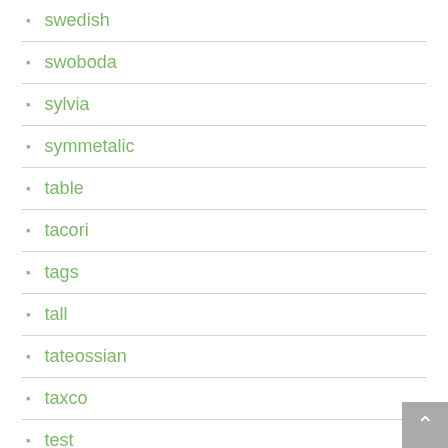swedish
swoboda
sylvia
symmetalic
table
tacori
tags
tall
tateossian
taxco
test
thai
theodor
there
thick